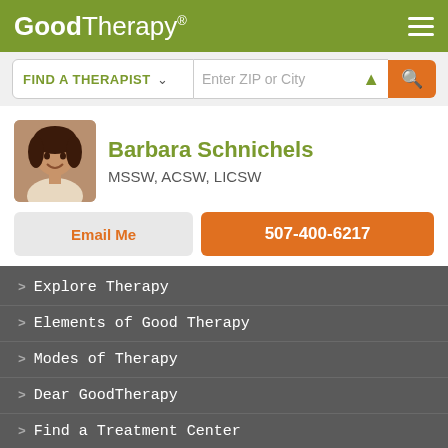GoodTherapy®
FIND A THERAPIST  ∨   Enter ZIP or City
Barbara Schnichels
MSSW, ACSW, LICSW
Email Me   507-400-6217
Explore Therapy
Elements of Good Therapy
Modes of Therapy
Dear GoodTherapy
Find a Treatment Center
GoodTherapy uses cookies to personalize content and ads to provide better services for our users and to analyze our traffic. By continuing to use this site you consent to our cookies.